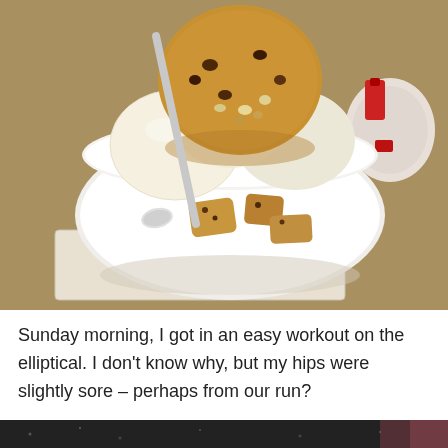[Figure (photo): A white ceramic bowl containing scoops of vanilla ice cream topped with a large chocolate chip cookie and cookie chunks, with a metal spoon inserted. The bowl sits on a tiled coaster on a table. A red and white decorative item is visible in the background to the right.]
Sunday morning, I got in an easy workout on the elliptical. I don't know why, but my hips were slightly sore – perhaps from our run?
[Figure (photo): Partial view of a dark glittery surface, bottom strip of another photo.]